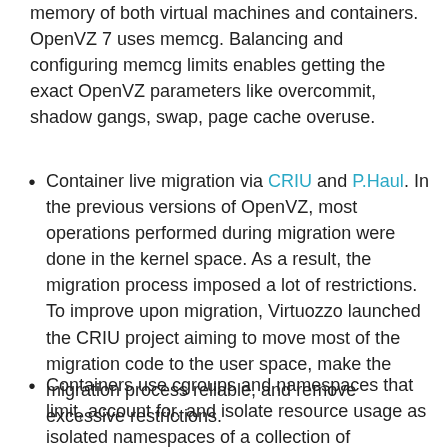memory of both virtual machines and containers. OpenVZ 7 uses memcg. Balancing and configuring memcg limits enables getting the exact OpenVZ parameters like overcommit, shadow gangs, swap, page cache overuse.
Container live migration via CRIU and P.Haul. In the previous versions of OpenVZ, most operations performed during migration were done in the kernel space. As a result, the migration process imposed a lot of restrictions. To improve upon migration, Virtuozzo launched the CRIU project aiming to move most of the migration code to the user space, make the migration process reliable, and remove excessive restrictions.
Containers use cgroups and namespaces that limit, account for, and isolate resource usage as isolated namespaces of a collection of processes. The